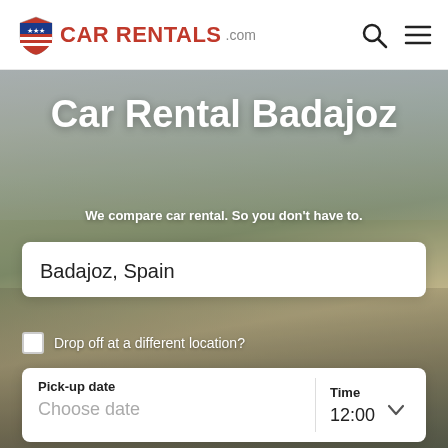[Figure (logo): CarRentals.com logo with American flag shield icon, red bold text CARRENTALS and grey .com]
CAR RENTALS .com
Car Rental Badajoz
We compare car rental. So you don't have to.
Badajoz, Spain
Drop off at a different location?
Pick-up date
Choose date
Time
12:00
Drop-off date
Choose date
Time
09:00